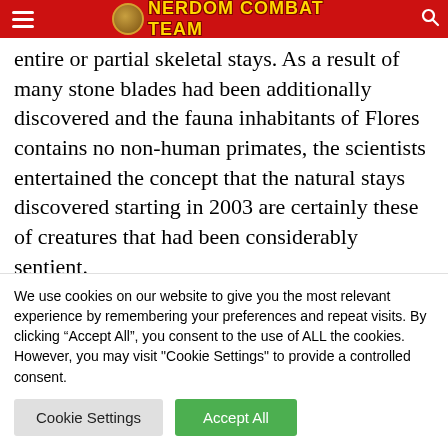NERDOM COMBAT TEAM
entire or partial skeletal stays. As a result of many stone blades had been additionally discovered and the fauna inhabitants of Flores contains no non-human primates, the scientists entertained the concept that the natural stays discovered starting in 2003 are certainly these of creatures that had been considerably sentient.
Initially, scientists pronounced the entire skeletal stays as being round 12,000 years outdated.
We use cookies on our website to give you the most relevant experience by remembering your preferences and repeat visits. By clicking “Accept All”, you consent to the use of ALL the cookies. However, you may visit "Cookie Settings" to provide a controlled consent.